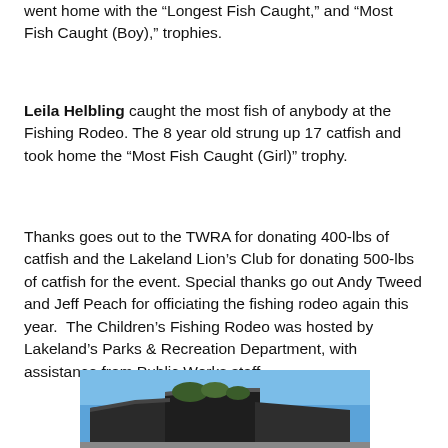went home with the “Longest Fish Caught,” and “Most Fish Caught (Boy),” trophies.
Leila Helbling caught the most fish of anybody at the Fishing Rodeo. The 8 year old strung up 17 catfish and took home the “Most Fish Caught (Girl)” trophy.
Thanks goes out to the TWRA for donating 400-lbs of catfish and the Lakeland Lion’s Club for donating 500-lbs of catfish for the event. Special thanks go out Andy Tweed and Jeff Peach for officiating the fishing rodeo again this year. The Children’s Fishing Rodeo was hosted by Lakeland’s Parks & Recreation Department, with assistance from Public Works staff.
[Figure (photo): Exterior photograph of a building with a blue sky background, showing angular roofline with trees visible behind the structure.]